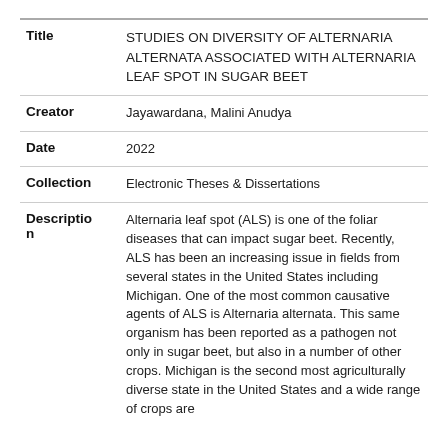| Field | Value |
| --- | --- |
| Title | STUDIES ON DIVERSITY OF ALTERNARIA ALTERNATA ASSOCIATED WITH ALTERNARIA LEAF SPOT IN SUGAR BEET |
| Creator | Jayawardana, Malini Anudya |
| Date | 2022 |
| Collection | Electronic Theses & Dissertations |
| Description | Alternaria leaf spot (ALS) is one of the foliar diseases that can impact sugar beet. Recently, ALS has been an increasing issue in fields from several states in the United States including Michigan. One of the most common causative agents of ALS is Alternaria alternata. This same organism has been reported as a pathogen not only in sugar beet, but also in a number of other crops. Michigan is the second most agriculturally diverse state in the United States and a wide range of crops are |